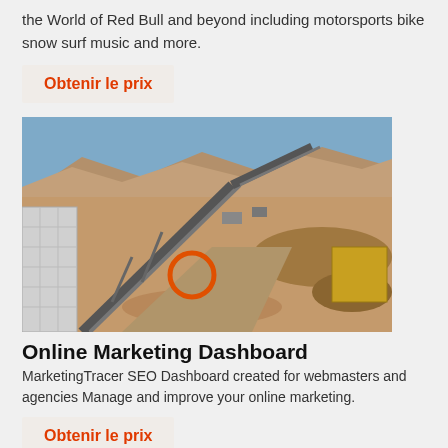the World of Red Bull and beyond including motorsports bike snow surf music and more.
Obtenir le prix
[Figure (photo): Aerial/ground-level photo of a large industrial mining or quarrying site with conveyor belts, machinery, and arid desert landscape in the background.]
Online Marketing Dashboard
MarketingTracer SEO Dashboard created for webmasters and agencies Manage and improve your online marketing.
Obtenir le prix